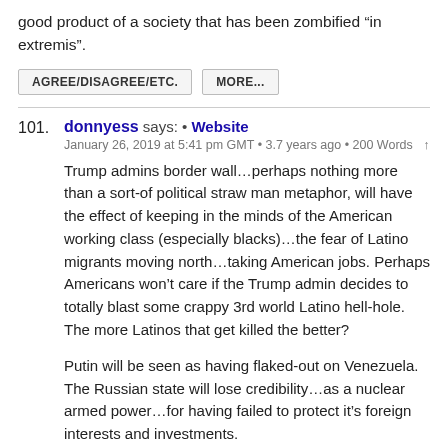good product of a society that has been zombified “in extremis”.
AGREE/DISAGREE/ETC.
MORE...
101. donnyess says: • Website
January 26, 2019 at 5:41 pm GMT • 3.7 years ago • 200 Words ↑
Trump admins border wall…perhaps nothing more than a sort-of political straw man metaphor, will have the effect of keeping in the minds of the American working class (especially blacks)…the fear of Latino migrants moving north…taking American jobs. Perhaps Americans won’t care if the Trump admin decides to totally blast some crappy 3rd world Latino hell-hole. The more Latinos that get killed the better?
Putin will be seen as having flaked-out on Venezuela. The Russian state will lose credibility…as a nuclear armed power…for having failed to protect it’s foreign interests and investments.
China is a sweatshop nation, but will be “allowed” their raw